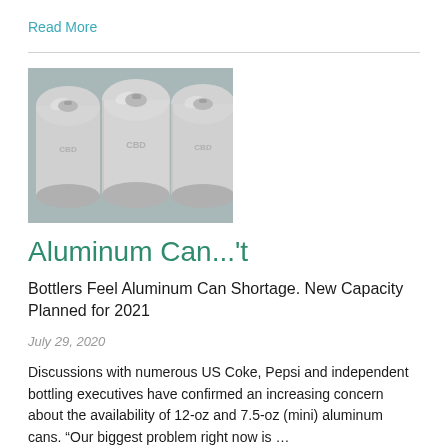Read More
[Figure (photo): Top-down view of aluminum drink cans, silver/metallic, arranged in a row, on a grey-blue background]
Aluminum Can...'t
Bottlers Feel Aluminum Can Shortage. New Capacity Planned for 2021
July 29, 2020
Discussions with numerous US Coke, Pepsi and independent bottling executives have confirmed an increasing concern about the availability of 12-oz and 7.5-oz (mini) aluminum cans. “Our biggest problem right now is …